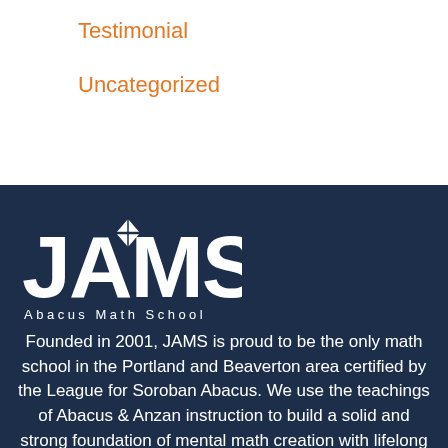Testimonial
Uncategorized
[Figure (logo): JAMS Abacus Math School logo — large white bold letters JAMS with an abacus diamond icon above the letter A, and subtitle text 'Abacus Math School' in spaced white letters on dark navy background]
Founded in 2001, JAMS is proud to be the only math school in the Portland and Beaverton area certified by the League for Soroban Abacus. We use the teachings of Abacus & Anzan instruction to build a solid and strong foundation of mental math creation with lifelong skills.